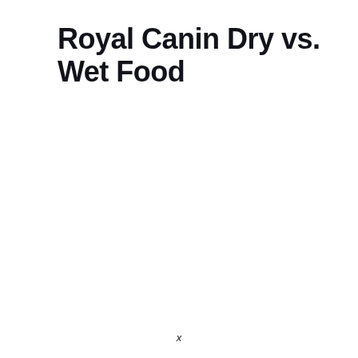Royal Canin Dry vs. Wet Food
x